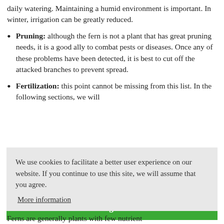daily watering. Maintaining a humid environment is important. In winter, irrigation can be greatly reduced.
Pruning: although the fern is not a plant that has great pruning needs, it is a good ally to combat pests or diseases. Once any of these problems have been detected, it is best to cut off the attacked branches to prevent spread.
Fertilization: this point cannot be missing from this list. In the following sections, we will
We use cookies to facilitate a better user experience on our website. If you continue to use this site, we will assume that you agree.
More information
I agree
Ferns are generally plants with few nutrient